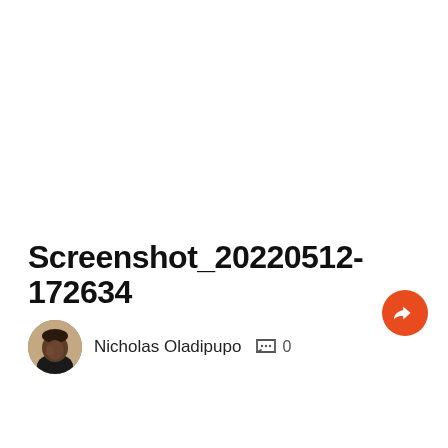Screenshot_20220512-172634
Nicholas Oladipupo  💬 0
[Figure (photo): Circular profile photo of a man (Nicholas Oladipupo), wearing a dark jacket, against a warm indoor background.]